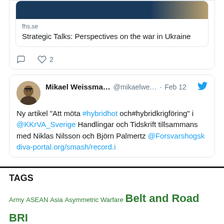[Figure (screenshot): Partial tweet card showing a link preview for 'Strategic Talks: Perspectives on the war in Ukraine' from fhs.se, with reply and like (2) action icons at the bottom.]
[Figure (screenshot): Tweet by Mikael Weissma... (@mikaelwe...) on Feb 12. Text: Ny artikel 'Att möta #hybridhot och#hybridkrigföring' i @KKrVA_Sverige Handlingar och Tidskrift tillsammans med Niklas Nilsson och Björn Palmertz @Forsvarshogsk diva-portal.org/smash/record.i]
TAGS
Army ASEAN Asia Asymmetric Warfare Belt and Road BRI China China-ASEAN Conference Conflict Management